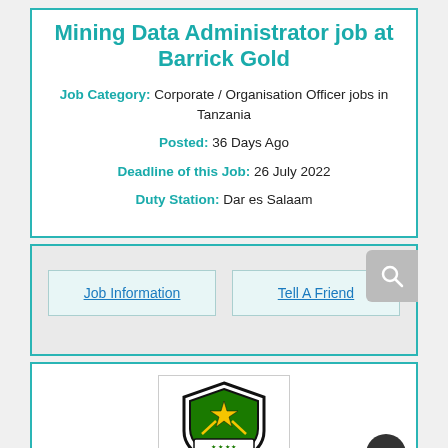Mining Data Administrator job at Barrick Gold
Job Category: Corporate / Organisation Officer jobs in Tanzania
Posted: 36 Days Ago
Deadline of this Job: 26 July 2022
Duty Station: Dar es Salaam
Job Information | Tell A Friend
[Figure (logo): Shield-shaped logo with star and text, possibly a security company logo]